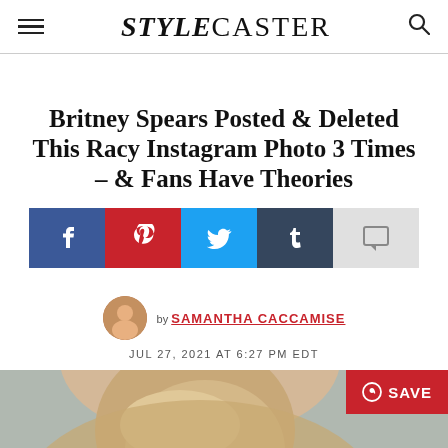STYLECASTER
Britney Spears Posted & Deleted This Racy Instagram Photo 3 Times – & Fans Have Theories
by SAMANTHA CACCAMISE
JUL 27, 2021 AT 6:27 PM EDT
[Figure (photo): Partial photo of a blonde woman, bottom portion of page]